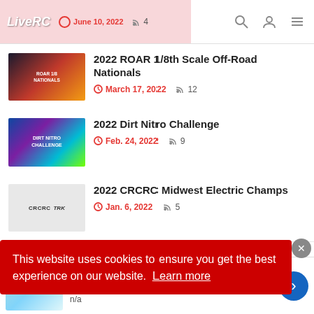LiveRC | June 10, 2022 | 4
2022 ROAR 1/8th Scale Off-Road Nationals | March 17, 2022 | 12
2022 Dirt Nitro Challenge | Feb. 24, 2022 | 9
2022 CRCRC Midwest Electric Champs | Jan. 6, 2022 | 5
This website uses cookies to ensure you get the best experience on our website. Learn more
New "Genius" Pill Now 100% Legal in Virginia
n/a